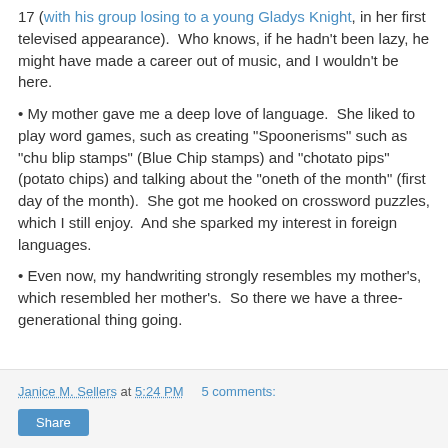17 (with his group losing to a young Gladys Knight, in her first televised appearance).  Who knows, if he hadn't been lazy, he might have made a career out of music, and I wouldn't be here.
• My mother gave me a deep love of language.  She liked to play word games, such as creating "Spoonerisms" such as "chu blip stamps" (Blue Chip stamps) and "chotato pips" (potato chips) and talking about the "oneth of the month" (first day of the month).  She got me hooked on crossword puzzles, which I still enjoy.  And she sparked my interest in foreign languages.
• Even now, my handwriting strongly resembles my mother's, which resembled her mother's.  So there we have a three-generational thing going.
Janice M. Sellers at 5:24 PM    5 comments:   Share